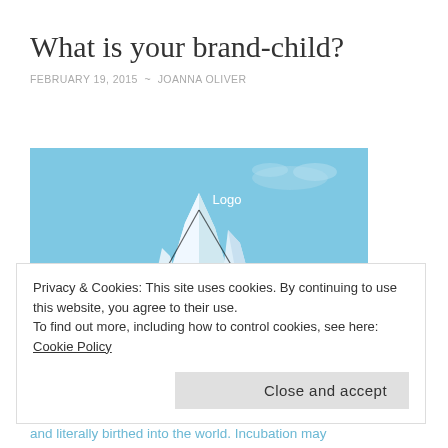What is your brand-child?
FEBRUARY 19, 2015  ~  JOANNA OLIVER
[Figure (illustration): Iceberg illustration showing 'Logo' label above water line and 'Brand' label below water line, representing brand iceberg metaphor. Sky blue above water, dark blue geometric iceberg below.]
Privacy & Cookies: This site uses cookies. By continuing to use this website, you agree to their use.
To find out more, including how to control cookies, see here: Cookie Policy
Close and accept
and literally birthed into the world. Incubation may